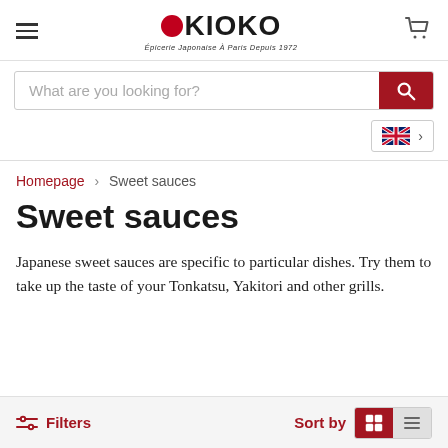[Figure (logo): Okioko Japanese grocery store logo with red circle dot and subtitle Épicerie Japonaise À Paris Depuis 1972]
What are you looking for?
[Figure (screenshot): UK flag language selector with arrow]
Homepage › Sweet sauces
Sweet sauces
Japanese sweet sauces are specific to particular dishes. Try them to take up the taste of your Tonkatsu, Yakitori and other grills.
Filters  Sort by